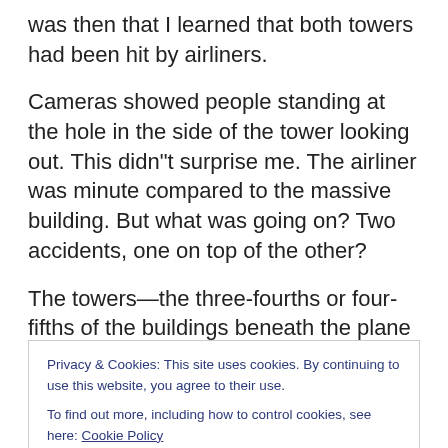was then that I learned that both towers had been hit by airliners.
Cameras showed people standing at the hole in the side of the tower looking out. This didn"t surprise me. The airliner was minute compared to the massive building. But what was going on? Two accidents, one on top of the other?
The towers—the three-fourths or four-fifths of the buildings beneath the plane strikes–were standing, apparently largely undamaged. There were no signs of fire except in
Privacy & Cookies: This site uses cookies. By continuing to use this website, you agree to their use.
To find out more, including how to control cookies, see here: Cookie Policy
disappeared into fine dust.